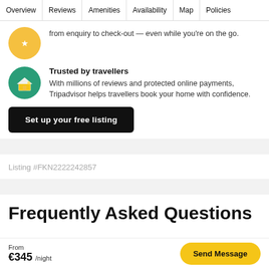Overview | Reviews | Amenities | Availability | Map | Policies
from enquiry to check-out — even while you're on the go.
Trusted by travellers
With millions of reviews and protected online payments, Tripadvisor helps travellers book your home with confidence.
Set up your free listing
Listing #FKN2222242857
Frequently Asked Questions
From €345 /night
Send Message